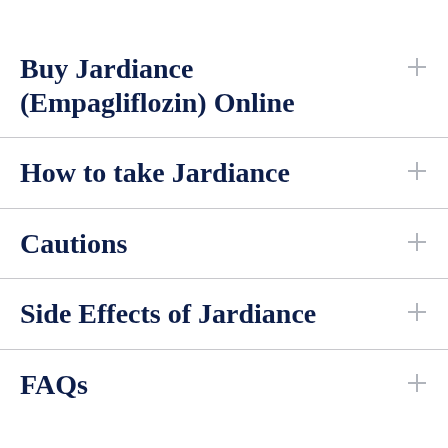Buy Jardiance (Empagliflozin) Online
How to take Jardiance
Cautions
Side Effects of Jardiance
FAQs